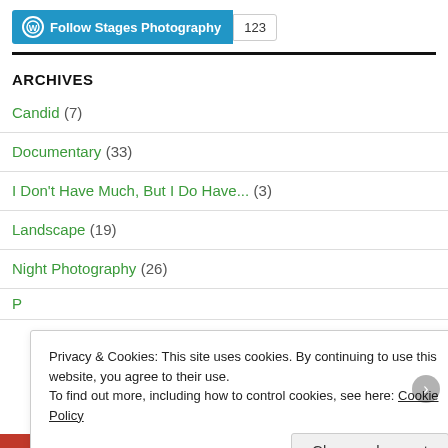[Figure (screenshot): WordPress Follow button with 'Follow Stages Photography' text and follower count badge showing 123]
ARCHIVES
Candid (7)
Documentary (33)
I Don't Have Much, But I Do Have... (3)
Landscape (19)
Night Photography (26)
Privacy & Cookies: This site uses cookies. By continuing to use this website, you agree to their use. To find out more, including how to control cookies, see here: Cookie Policy
Close and accept